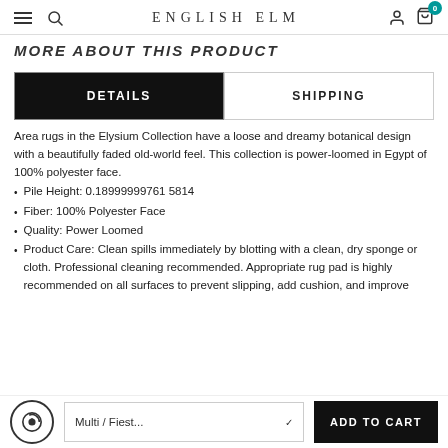ENGLISH ELM
MORE ABOUT THIS PRODUCT
DETAILS | SHIPPING (tabs)
Area rugs in the Elysium Collection have a loose and dreamy botanical design with a beautifully faded old-world feel. This collection is power-loomed in Egypt of 100% polyester face.
Pile Height: 0.18999999761 5814
Fiber: 100% Polyester Face
Quality: Power Loomed
Product Care: Clean spills immediately by blotting with a clean, dry sponge or cloth. Professional cleaning recommended. Appropriate rug pad is highly recommended on all surfaces to prevent slipping, add cushion, and improve